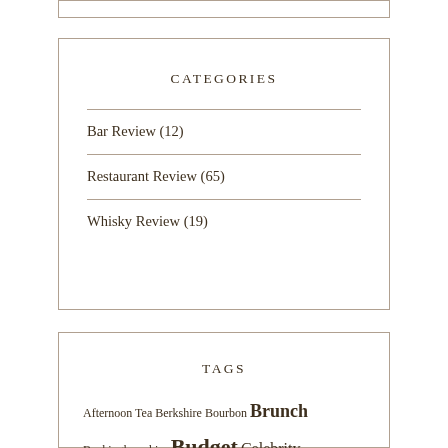CATEGORIES
Bar Review (12)
Restaurant Review (65)
Whisky Review (19)
TAGS
Afternoon Tea Berkshire Bourbon Brunch Buckinghamshire Budget Celebrity